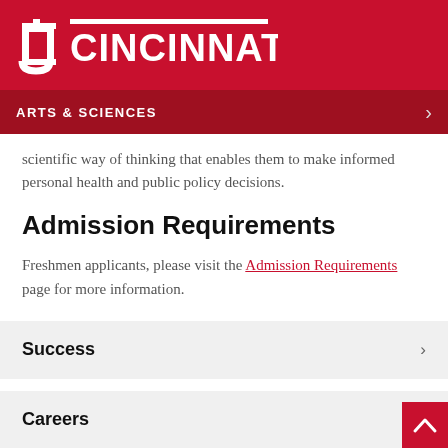[Figure (logo): University of Cincinnati logo — UC torch icon and CINCINNATI wordmark in white on red background]
ARTS & SCIENCES
scientific way of thinking that enables them to make informed personal health and public policy decisions.
Admission Requirements
Freshmen applicants, please visit the Admission Requirements page for more information.
Success
Careers